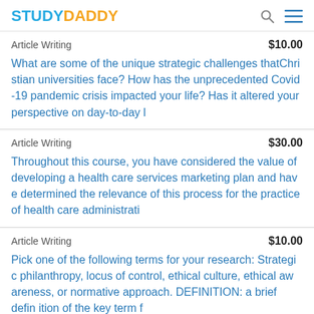STUDYDADDY
Article Writing | $10.00
What are some of the unique strategic challenges thatChristian universities face? How has the unprecedented Covid-19 pandemic crisis impacted your life? Has it altered your perspective on day-to-day l
Article Writing | $30.00
Throughout this course, you have considered the value of developing a health care services marketing plan and have determined the relevance of this process for the practice of health care administrati
Article Writing | $10.00
Pick one of the following terms for your research: Strategic philanthropy, locus of control, ethical culture, ethical awareness, or normative approach. DEFINITION: a brief definition of the key term f